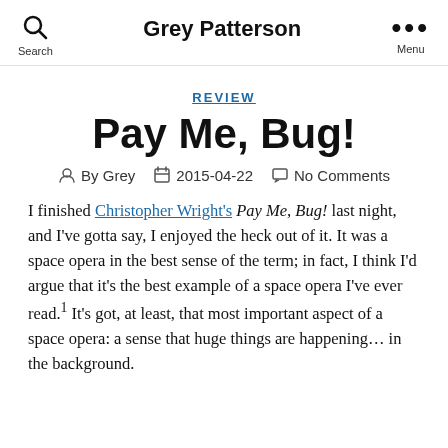Grey Patterson
REVIEW
Pay Me, Bug!
By Grey   2015-04-22   No Comments
I finished Christopher Wright's Pay Me, Bug! last night, and I've gotta say, I enjoyed the heck out of it. It was a space opera in the best sense of the term; in fact, I think I'd argue that it's the best example of a space opera I've ever read.¹ It's got, at least, that most important aspect of a space opera: a sense that huge things are happening… in the background.